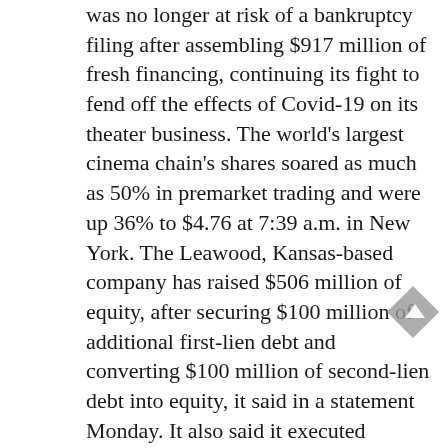was no longer at risk of a bankruptcy filing after assembling $917 million of fresh financing, continuing its fight to fend off the effects of Covid-19 on its theater business. The world's largest cinema chain's shares soared as much as 50% in premarket trading and were up 36% to $4.76 at 7:39 a.m. in New York. The Leawood, Kansas-based company has raised $506 million of equity, after securing $100 million of additional first-lien debt and converting $100 million of second-lien debt into equity, it said in a statement Monday. It also said it executed commitment letters for $411 million of new debt through mid-2023.
18. Blackstone Group Inc.'s Alight Solutions has agreed to go public via a merger with a blank-check special acquisition firm backed by investor Bill